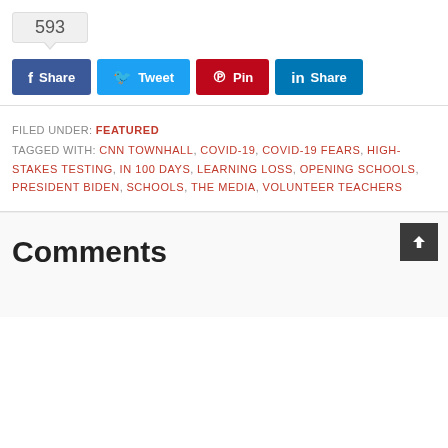593
Share | Tweet | Pin | Share
FILED UNDER: FEATURED
TAGGED WITH: CNN TOWNHALL, COVID-19, COVID-19 FEARS, HIGH-STAKES TESTING, IN 100 DAYS, LEARNING LOSS, OPENING SCHOOLS, PRESIDENT BIDEN, SCHOOLS, THE MEDIA, VOLUNTEER TEACHERS
Comments